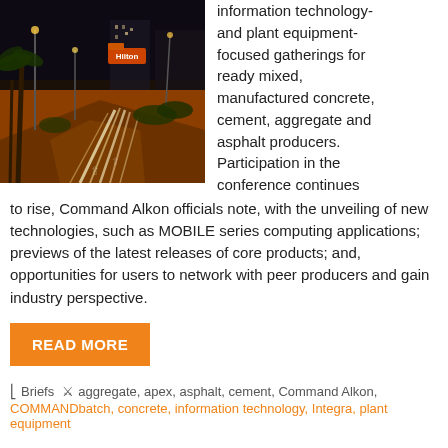[Figure (photo): Night-time cityscape with a Hilton hotel sign, palm trees, and light trails from traffic on a wide road, with an orange-tinted glow.]
information technology- and plant equipment-focused gatherings for ready mixed, manufactured concrete, cement, aggregate and asphalt producers. Participation in the conference continues to rise, Command Alkon officials note, with the unveiling of new technologies, such as MOBILE series computing applications; previews of the latest releases of core products; and, opportunities for users to network with peer producers and gain industry perspective.
READ MORE
Briefs  aggregate, apex, asphalt, cement, Command Alkon,
COMMANDbatch, concrete, information technology, Integra, plant equipment